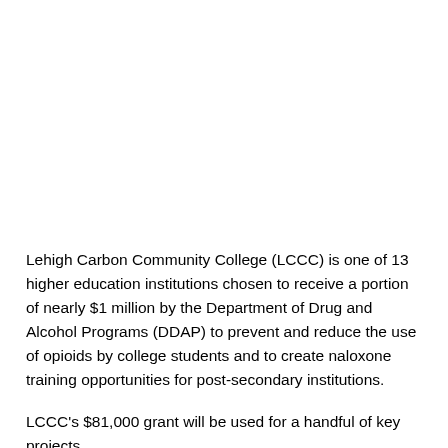Lehigh Carbon Community College (LCCC) is one of 13 higher education institutions chosen to receive a portion of nearly $1 million by the Department of Drug and Alcohol Programs (DDAP) to prevent and reduce the use of opioids by college students and to create naloxone training opportunities for post-secondary institutions.
LCCC's $81,000 grant will be used for a handful of key projects.